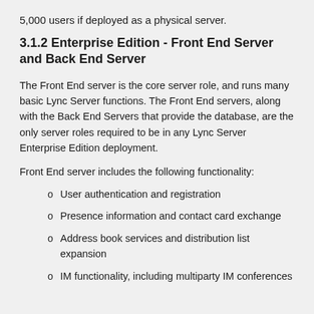5,000 users if deployed as a physical server.
3.1.2 Enterprise Edition - Front End Server and Back End Server
The Front End server is the core server role, and runs many basic Lync Server functions. The Front End servers, along with the Back End Servers that provide the database, are the only server roles required to be in any Lync Server Enterprise Edition deployment.
Front End server includes the following functionality:
User authentication and registration
Presence information and contact card exchange
Address book services and distribution list expansion
IM functionality, including multiparty IM conferences